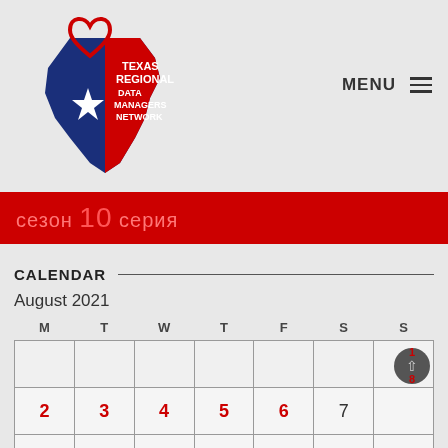[Figure (logo): Texas Regional Data Managers Network logo — Texas state shape in blue and red with white star and red heart outline on top, text reads TEXAS REGIONAL DATA MANAGERS NETWORK]
MENU ≡
сезон 10 серия
CALENDAR
August 2021
| M | T | W | T | F | S | S |
| --- | --- | --- | --- | --- | --- | --- |
|  |  |  |  |  |  | 1 |
| 2 | 3 | 4 | 5 | 6 | 7 | 8 |